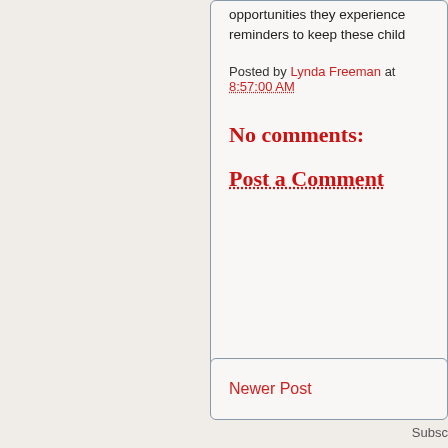opportunities they experience reminders to keep these child
Posted by Lynda Freeman at 8:57:00 AM
No comments:
Post a Comment
Newer Post
Subsc